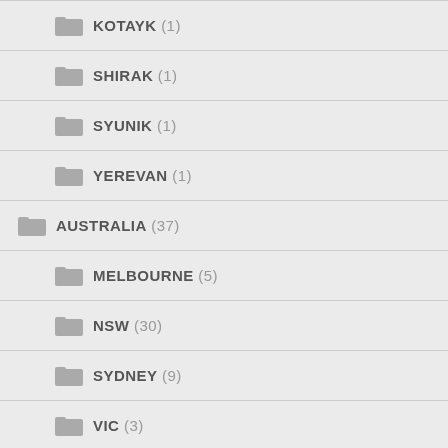KOTAYK (1)
SHIRAK (1)
SYUNIK (1)
YEREVAN (1)
AUSTRALIA (37)
MELBOURNE (5)
NSW (30)
SYDNEY (9)
VIC (3)